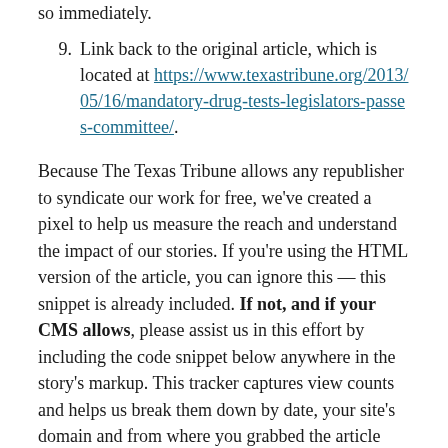so immediately.
9. Link back to the original article, which is located at https://www.texastribune.org/2013/05/16/mandatory-drug-tests-legislators-passes-committee/.
Because The Texas Tribune allows any republisher to syndicate our work for free, we've created a pixel to help us measure the reach and understand the impact of our stories. If you're using the HTML version of the article, you can ignore this — this snippet is already included. If not, and if your CMS allows, please assist us in this effort by including the code snippet below anywhere in the story's markup. This tracker captures view counts and helps us break them down by date, your site's domain and from where you grabbed the article (for example, this page). No other information is